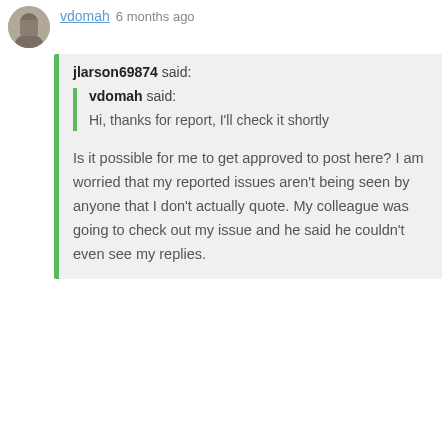vdomah 6 months ago
jlarson69874 said:
vdomah said:

Hi, thanks for report, I'll check it shortly
Is it possible for me to get approved to post here? I am worried that my reported issues aren't being seen by anyone that I don't actually quote. My colleague was going to check out my issue and he said he couldn't even see my replies.